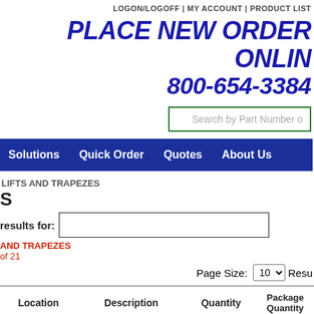LOGON/LOGOFF | MY ACCOUNT | PRODUCT LIST
PLACE NEW ORDER ONLINE
800-654-3384
[Figure (screenshot): Search by Part Number input box with green border]
Solutions  Quick Order  Quotes  About Us
LIFTS AND TRAPEZES
S
results for:
AND TRAPEZES
of 21
Page Size: 10  Resu
| Location | Description | Quantity | Package Quantity |
| --- | --- | --- | --- |